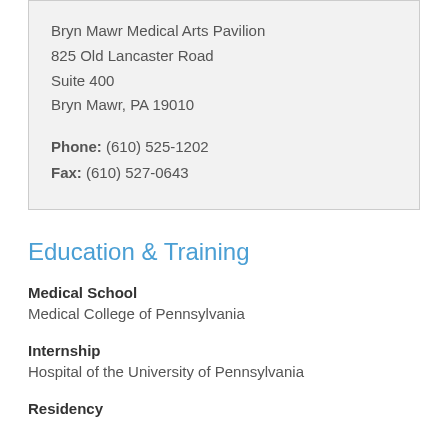Bryn Mawr Medical Arts Pavilion
825 Old Lancaster Road
Suite 400
Bryn Mawr, PA 19010
Phone: (610) 525-1202
Fax: (610) 527-0643
Education & Training
Medical School
Medical College of Pennsylvania
Internship
Hospital of the University of Pennsylvania
Residency